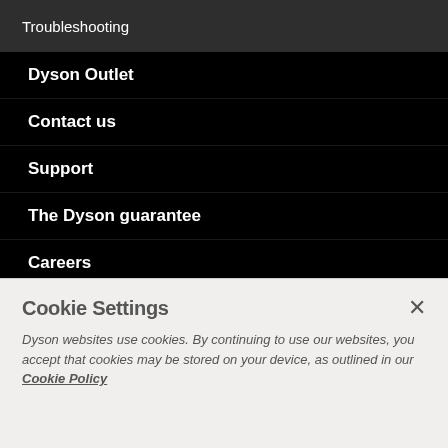Troubleshooting
Dyson Outlet
Contact us
Support
The Dyson guarantee
Careers
Newsroom
Dyson Hyperdymium™ motor
Compliance data
Cookie Settings
Dyson websites use cookies. By continuing to use our websites, you accept that cookies may be stored on your device, as outlined in our Cookie Policy